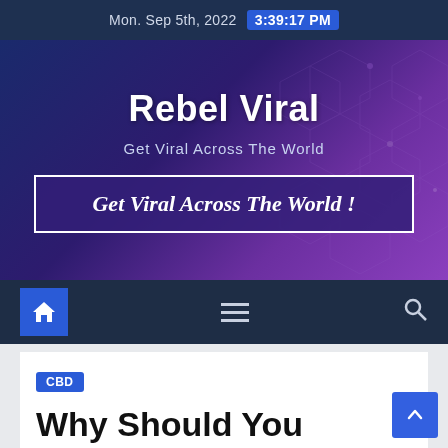Mon. Sep 5th, 2022  3:39:17 PM
Rebel Viral
Get Viral Across The World
Get Viral Across The World !
[Figure (screenshot): Navigation bar with home button, hamburger menu icon, and search icon on dark background]
CBD
Why Should You